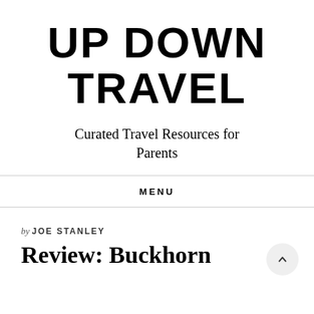UP DOWN TRAVEL
Curated Travel Resources for Parents
MENU
by JOE STANLEY
Review: Buckhorn